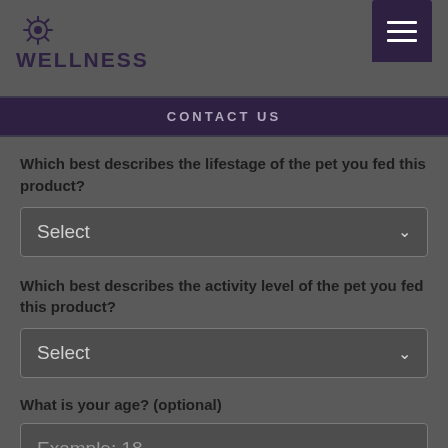[Figure (logo): Wellness pet food logo with sunburst icon above the word WELLNESS in bold uppercase letters]
CONTACT US
Which best describes the lifestage of the pet you fed this product?
Select
Which best describes the activity level of the pet you fed this product?
Select
What is your age? (optional)
Example: 18
What is your gender? (optional)